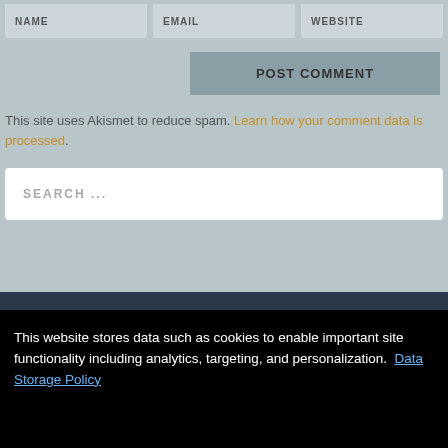NAME | EMAIL | WEBSITE
POST COMMENT
This site uses Akismet to reduce spam. Learn how your comment data is processed.
SEARCH ...
This website stores data such as cookies to enable important site functionality including analytics, targeting, and personalization. Data Storage Policy